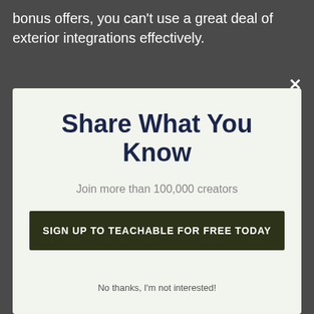bonus offers, you can't use a great deal of exterior integrations effectively.
[Figure (screenshot): A modal popup dialog with light green/cream background containing the heading 'Share What You Know', subtitle 'Join more than 100,000 creators', a dark olive green call-to-action button 'SIGN UP TO TEACHABLE FOR FREE TODAY', and a close X button in the top right corner.]
Share What You Know
Join more than 100,000 creators
SIGN UP TO TEACHABLE FOR FREE TODAY
No thanks, I'm not interested!
however it's less than what you'd pay Teachable under the cost-free strategy. This fee is quite prevalent, as well, and about what would be